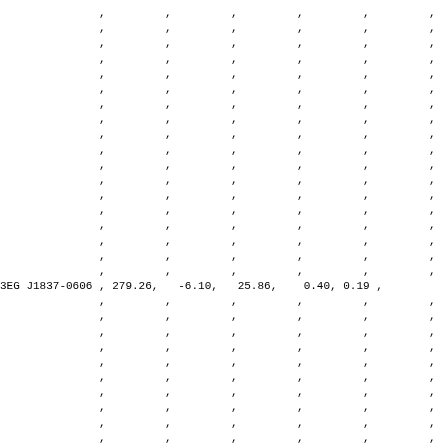|  | , | , | , | , | , | , |
|  | , | , | , | , | , | , |
|  | , | , | , | , | , | , |
|  | , | , | , | , | , | , |
|  | , | , | , | , | , | , |
|  | , | , | , | , | , | , |
|  | , | , | , | , | , | , |
|  | , | , | , | , | , | , |
|  | , | , | , | , | , | , |
|  | , | , | , | , | , | , |
|  | , | , | , | , | , | , |
|  | , | , | , | , | , | , |
|  | , | , | , | , | , | , |
|  | , | , | , | , | , | , |
|  | , | , | , | , | , | , |
|  | , | , | , | , | , | , |
|  | , | , | , | , | , | , |
|  | , | , | , | , | , | , |
| 3EG J1837-0606 | , | 279.26, | -6.10, | 25.86, | 0.40, | 0.19 | , |
|  | , | , | , | , | , | , |
|  | , | , | , | , | , | , |
|  | , | , | , | , | , | , |
|  | , | , | , | , | , | , |
|  | , | , | , | , | , | , |
|  | , | , | , | , | , | , |
|  | , | , | , | , | , | , |
|  | , | , | , | , | , | , |
|  | , | , | , | , | , | , |
|  | , | , | , | , | , | , |